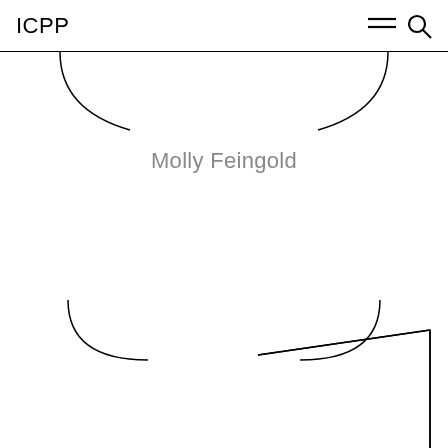ICPP
[Figure (illustration): Decorative geometric line illustration showing partial curved shapes (quarter circles) in the upper portion, a name label 'Molly Feingold' in the middle, more curved arcs in the lower middle area, and a parallelogram-like polygon shape in the lower right area. Appears to be a website screenshot of the ICPP organization page.]
Molly Feingold